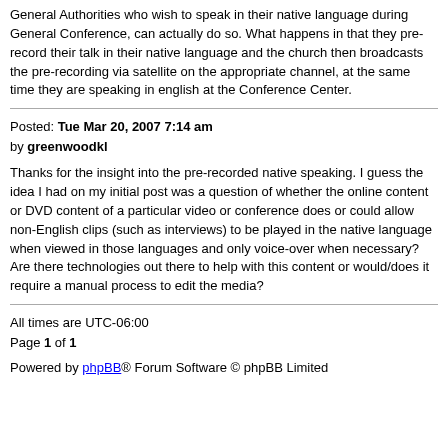General Authorities who wish to speak in their native language during General Conference, can actually do so. What happens in that they pre-record their talk in their native language and the church then broadcasts the pre-recording via satellite on the appropriate channel, at the same time they are speaking in english at the Conference Center.
Posted: Tue Mar 20, 2007 7:14 am by greenwoodkl
Thanks for the insight into the pre-recorded native speaking. I guess the idea I had on my initial post was a question of whether the online content or DVD content of a particular video or conference does or could allow non-English clips (such as interviews) to be played in the native language when viewed in those languages and only voice-over when necessary? Are there technologies out there to help with this content or would/does it require a manual process to edit the media?
All times are UTC-06:00
Page 1 of 1
Powered by phpBB® Forum Software © phpBB Limited